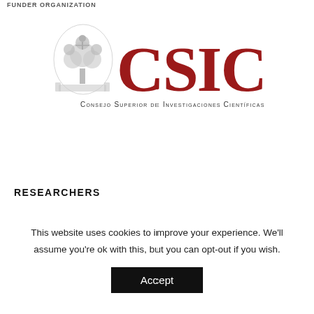FUNDER ORGANIZATION
[Figure (logo): CSIC logo — coat of arms illustration on left, large bold dark-red letters 'CSIC' on right, subtitle 'Consejo Superior de Investigaciones Científicas' below in small caps]
RESEARCHERS
Daniel Oro
This website uses cookies to improve your experience. We'll assume you're ok with this, but you can opt-out if you wish.
Accept